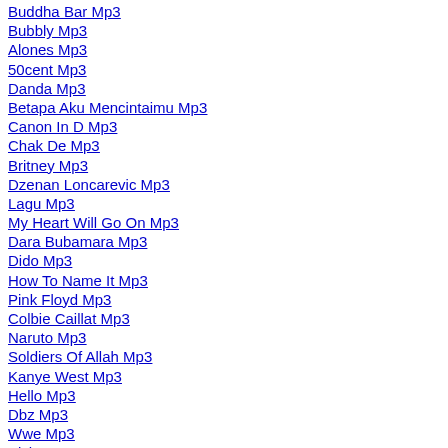Buddha Bar Mp3
Bubbly Mp3
Alones Mp3
50cent Mp3
Danda Mp3
Betapa Aku Mencintaimu Mp3
Canon In D Mp3
Chak De Mp3
Britney Mp3
Dzenan Loncarevic Mp3
Lagu Mp3
My Heart Will Go On Mp3
Dara Bubamara Mp3
Dido Mp3
How To Name It Mp3
Pink Floyd Mp3
Colbie Caillat Mp3
Naruto Mp3
Soldiers Of Allah Mp3
Kanye West Mp3
Hello Mp3
Dbz Mp3
Wwe Mp3
Kishore Kumar Mp3
Loving You Mp3
Muse Mp3